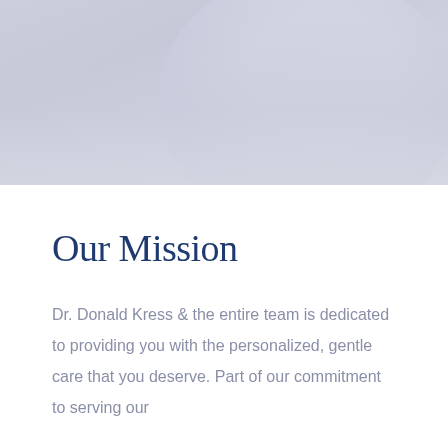[Figure (photo): Top portion of a medical professional photo — soft lavender-gray background with a circular gradient element suggesting a doctor in white coat, fading into white]
Our Mission
Dr. Donald Kress & the entire team is dedicated to providing you with the personalized, gentle care that you deserve. Part of our commitment to serving our